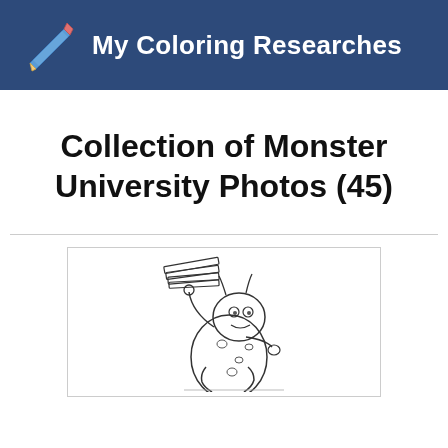My Coloring Researches
Collection of Monster University Photos (45)
[Figure (illustration): A coloring page line drawing of Sulley from Monsters University, holding a stack of books balanced on one finger, standing upright.]